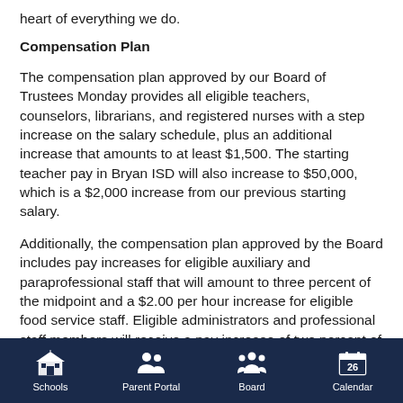heart of everything we do.
Compensation Plan
The compensation plan approved by our Board of Trustees Monday provides all eligible teachers, counselors, librarians, and registered nurses with a step increase on the salary schedule, plus an additional increase that amounts to at least $1,500. The starting teacher pay in Bryan ISD will also increase to $50,000, which is a $2,000 increase from our previous starting salary.
Additionally, the compensation plan approved by the Board includes pay increases for eligible auxiliary and paraprofessional staff that will amount to three percent of the midpoint and a $2.00 per hour increase for eligible food service staff. Eligible administrators and professional staff members will receive a pay increase of two percent of the midpoint.
The increases adopted this week are in addition to the
Schools | Parent Portal | Board | Calendar